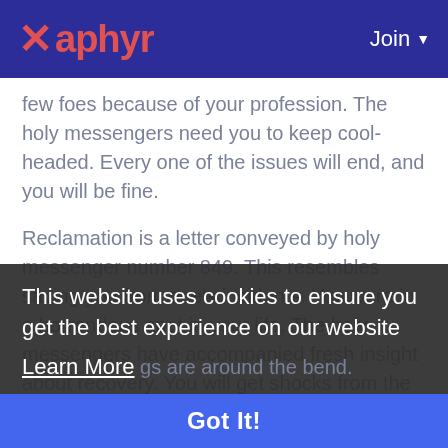Xaphyr | Join
few foes because of your profession. The holy messengers need you to keep cool-headed. Every one of the issues will end, and you will be fine.
Reclamation is a letter conveyed by holy messenger number 849. This resembles saving you from one's incidents. You were in a horrendous spot in your life. The holy messengers have accompanied fresh insight about recovery. You will get shocks from the universe. Your wellbeing will be OK. You will indeed find the best arrangement. the fact that blessings are around the bend.
Scriptural Meaning of 849 Angel Number
849 profoundly implies that you have the opportunity to pick the way you need to take
This website uses cookies to ensure you get the best experience on our website
Learn More
Got It!